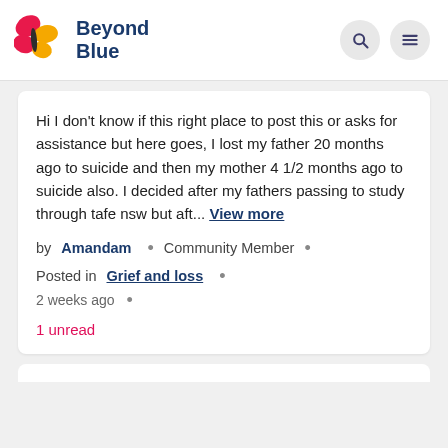Beyond Blue
Hi I don't know if this right place to post this or asks for assistance but here goes, I lost my father 20 months ago to suicide and then my mother 4 1/2 months ago to suicide also. I decided after my fathers passing to study through tafe nsw but aft... View more
by Amandam • Community Member •
Posted in Grief and loss •
2 weeks ago •
1 unread